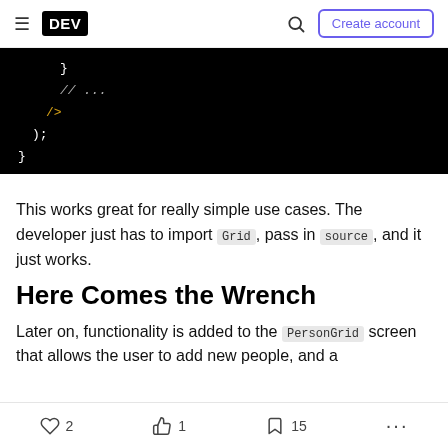DEV | Create account
[Figure (screenshot): Dark code editor block showing JSX/JavaScript code snippet with closing braces, comment '// ...', and '/>' self-closing tag in yellow, on black background]
This works great for really simple use cases. The developer just has to import Grid, pass in source, and it just works.
Here Comes the Wrench
Later on, functionality is added to the PersonGrid screen that allows the user to add new people, and a
2  |  1  |  15  |  ...